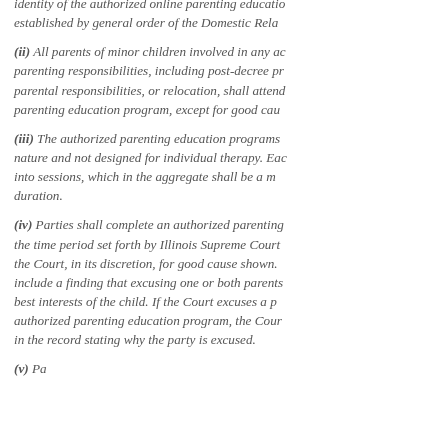identity of the authorized online parenting education established by general order of the Domestic Rela
(ii) All parents of minor children involved in any action parenting responsibilities, including post-decree procedures parental responsibilities, or relocation, shall attend a parenting education program, except for good cause
(iii) The authorized parenting education programs nature and not designed for individual therapy. Each into sessions, which in the aggregate shall be a minimum duration.
(iv) Parties shall complete an authorized parenting the time period set forth by Illinois Supreme Court the Court, in its discretion, for good cause shown. include a finding that excusing one or both parents best interests of the child. If the Court excuses a party authorized parenting education program, the Court in the record stating why the party is excused.
(v) Parties may complete the...